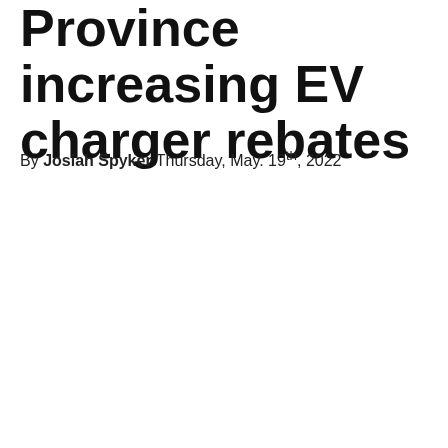Province increasing EV charger rebates
By Josiah Spyker Thursday, May. 19th, 2022